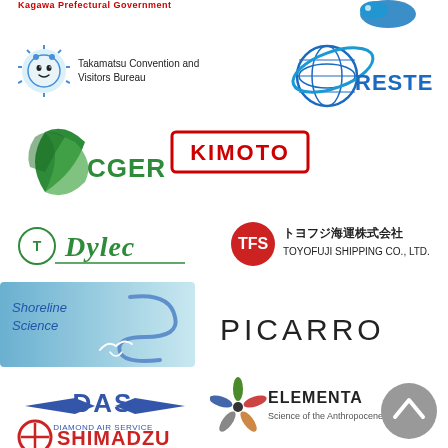[Figure (logo): Kagawa Prefectural Government text (partially visible at top)]
[Figure (logo): Blue fish/globe logo (partially visible top right)]
[Figure (logo): Takamatsu Convention and Visitors Bureau logo with mascot character]
[Figure (logo): RESTEC logo with globe and orbit]
[Figure (logo): CGER logo with green leaf/globe motif]
[Figure (logo): KIMOTO logo in red box]
[Figure (logo): Dylec logo with T circle mark in green]
[Figure (logo): Toyofuji Shipping Co., Ltd. logo with TFS emblem and Japanese text]
[Figure (logo): Shoreline Science logo with blue gradient and bird]
[Figure (logo): PICARRO logo in dark letters]
[Figure (logo): DAS Diamond Air Service logo with wings]
[Figure (logo): Elementa Science of the Anthropocene logo with star/flower mark]
[Figure (logo): SHIMADZU Excellence in Science logo]
[Figure (logo): Grey circle back-to-top button with upward chevron]